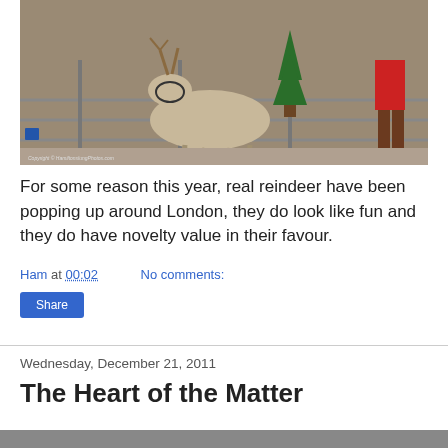[Figure (photo): A reindeer standing in a metal pen enclosure with grey metal fence railings. A red sign on the left reads 'IF YOU REQUIRE SOME ANTISEPTIC GEL ASK ONE OF THE ANIMAL HANDLERS'. A green Christmas tree is in the centre background. A person in a red top and brown boots stands on the right. Gravel ground. Copyright watermark bottom left.]
For some reason this year, real reindeer have been popping up around London, they do look like fun and they do have novelty value in their favour.
Ham at 00:02    No comments:
Share
Wednesday, December 21, 2011
The Heart of the Matter